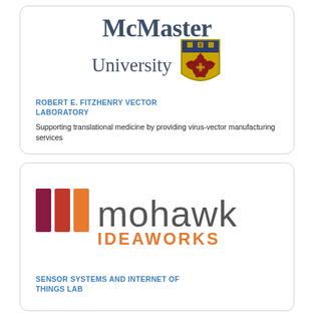[Figure (logo): McMaster University logo with shield crest]
ROBERT E. FITZHENRY VECTOR LABORATORY
Supporting translational medicine by providing virus-vector manufacturing services
[Figure (logo): Mohawk Ideaworks logo with three colored bars and stylized text]
SENSOR SYSTEMS AND INTERNET OF THINGS LAB